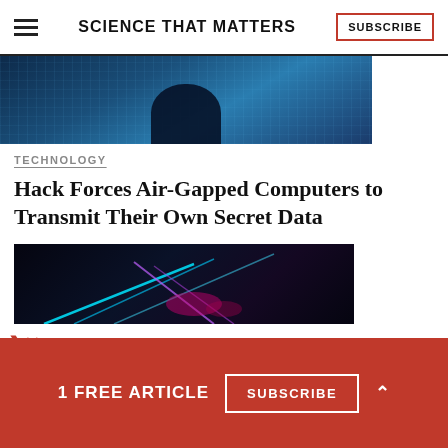SCIENCE THAT MATTERS | SUBSCRIBE
[Figure (photo): Dark blue digital/hacker themed header image with grid overlay pattern and silhouette figure]
TECHNOLOGY
Hack Forces Air-Gapped Computers to Transmit Their Own Secret Data
[Figure (photo): Dark image with blue and purple laser beams crossing over a dark background]
1 FREE ARTICLE  SUBSCRIBE